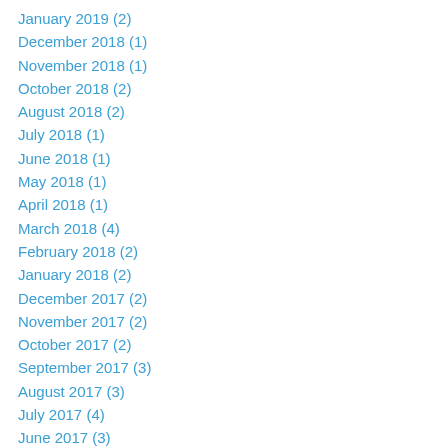January 2019 (2)
December 2018 (1)
November 2018 (1)
October 2018 (2)
August 2018 (2)
July 2018 (1)
June 2018 (1)
May 2018 (1)
April 2018 (1)
March 2018 (4)
February 2018 (2)
January 2018 (2)
December 2017 (2)
November 2017 (2)
October 2017 (2)
September 2017 (3)
August 2017 (3)
July 2017 (4)
June 2017 (3)
May 2017 (4)